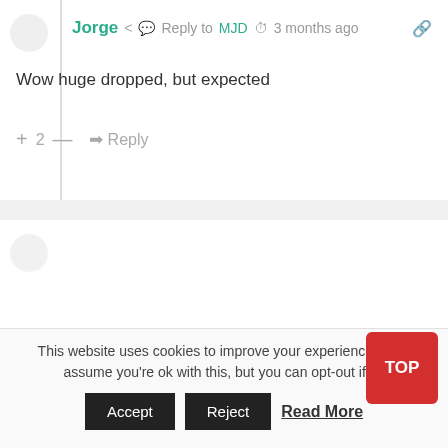Jorge · share · Reply to MJD · 3 months ago
Wow huge dropped, but expected
+ 2 — Reply
Maddy · share · 6 months ago
Why is Drake above Taylor suddenly ? Can the glitch be fixed?
+ 0 — Reply
This website uses cookies to improve your experience. We'll assume you're ok with this, but you can opt-out if you
Accept | Reject | Read More